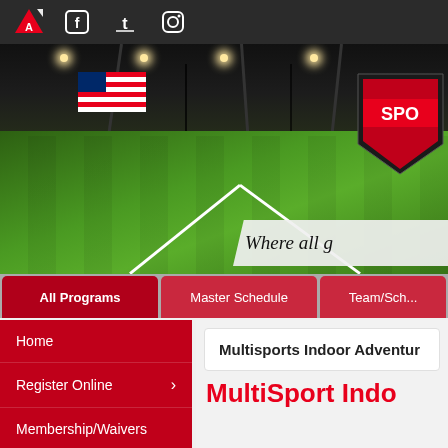Navigation bar with logo, Facebook, Twitter, Instagram icons
[Figure (photo): Indoor sports facility with green artificial turf field, white field lines, American flag on wall, black steel frame ceiling with lights, partially visible red shield/badge logo on right, banner reading 'Where all g...' at bottom right]
All Programs | Master Schedule | Team/Sch...
Home
Register Online
Membership/Waivers
School Vacation &
Multisports Indoor Adventur...
MultiSport Indo...